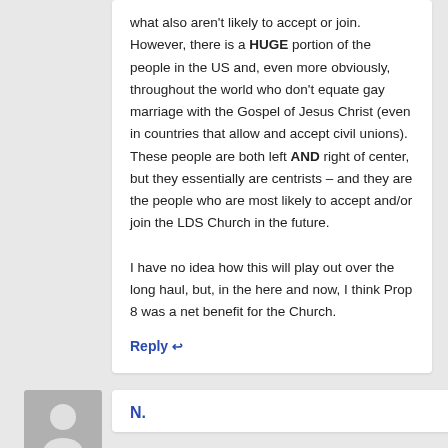what also aren't likely to accept or join. However, there is a HUGE portion of the people in the US and, even more obviously, throughout the world who don't equate gay marriage with the Gospel of Jesus Christ (even in countries that allow and accept civil unions). These people are both left AND right of center, but they essentially are centrists – and they are the people who are most likely to accept and/or join the LDS Church in the future.

I have no idea how this will play out over the long haul, but, in the here and now, I think Prop 8 was a net benefit for the Church.
Reply ↩
[Figure (illustration): Generic user avatar: gray rectangle with a white silhouette of a person (head and shoulders)]
N.